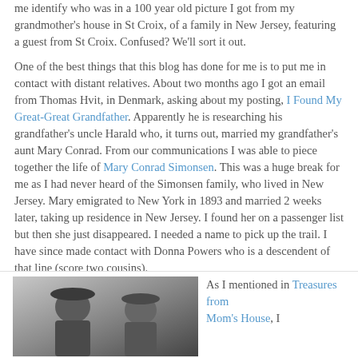me identify who was in a 100 year old picture I got from my grandmother's house in St Croix, of a family in New Jersey, featuring a guest from St Croix.  Confused?  We'll sort it out.
One of the best things that this blog has done for me is to put me in contact with distant relatives.  About two months ago I got an email from Thomas Hvit, in Denmark, asking about my posting, I Found My Great-Great Grandfather. Apparently he  is researching his grandfather's uncle Harald who, it turns out, married my grandfather's aunt Mary Conrad.  From our communications I was able to piece together the life of Mary Conrad Simonsen. This was a huge break for me as I had never heard of the Simonsen family, who lived in New Jersey.  Mary emigrated to New York in 1893 and married 2 weeks later, taking up residence in New Jersey.  I found her on a passenger list but then she just disappeared.  I needed a name to pick up the trail.  I have since made contact with Donna Powers who is a descendent of that line (score two cousins).
[Figure (photo): Black and white photograph of two people, partially visible, appearing to be an old family photo]
As I mentioned in Treasures from Mom's House, I